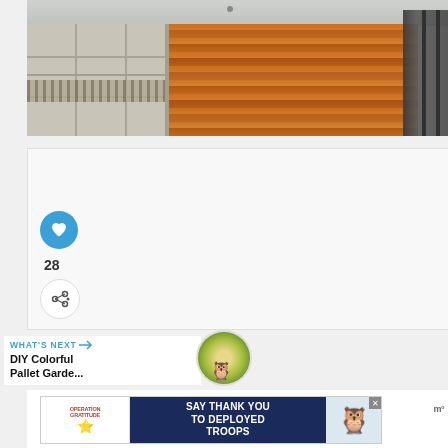[Figure (photo): Photo of interior flooring transition: tile floor on left side meeting hardwood/wood plank floor on right side, with white cabinetry visible at top and a dark metal ladder/chair on right edge]
[Figure (infographic): Social media UI card with heart/like button (blue circle with heart icon), like count '28', and share button]
28
WHAT'S NEXT → DIY Colorful Pallet Garde...
[Figure (photo): Thumbnail image of a colorful pallet garden project]
[Figure (infographic): Advertisement banner: Operation Gratitude - SAY THANK YOU TO DEPLOYED TROOPS with cartoon owl mascot in patriotic colors]